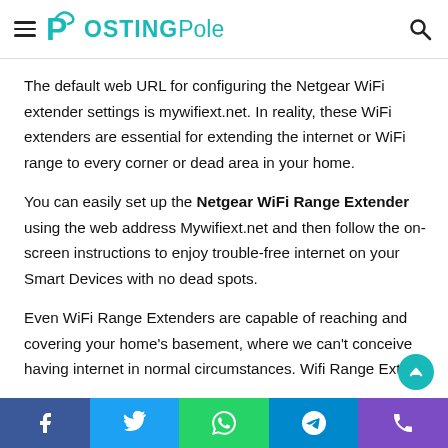PostingPole
The default web URL for configuring the Netgear WiFi extender settings is mywifiext.net. In reality, these WiFi extenders are essential for extending the internet or WiFi range to every corner or dead area in your home.
You can easily set up the Netgear WiFi Range Extender using the web address Mywifiext.net and then follow the on-screen instructions to enjoy trouble-free internet on your Smart Devices with no dead spots.
Even WiFi Range Extenders are capable of reaching and covering your home's basement, where we can't conceive having internet in normal circumstances. Wifi Range Extend…
Facebook | Twitter | WhatsApp | Telegram | Phone